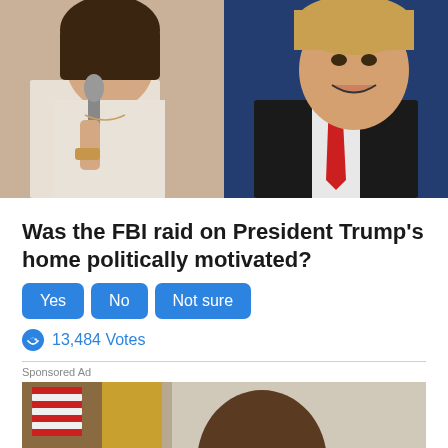[Figure (photo): Two side-by-side photos: left shows a woman with dark hair speaking into a microphone wearing a white outfit; right shows a man in a dark suit with a red tie against a blue background.]
Was the FBI raid on President Trump's home politically motivated?
Yes  No  Not sure
13,484 Votes
Sponsored Ad
Related Posts
[Figure (photo): Partial photo showing a person with dark hair and an American flag in the background.]